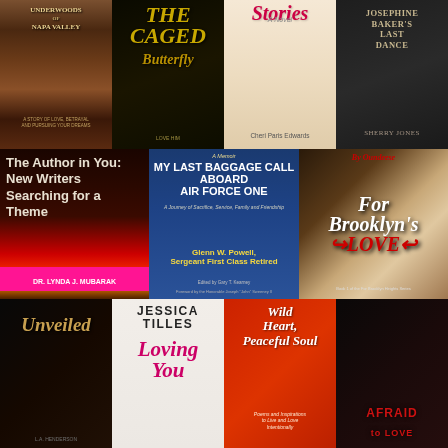[Figure (photo): Grid of 11 book covers arranged in 3 rows. Row 1 (4 books): 'Underwoods of Napa Valley', 'The Caged Butterfly', a book with feet and flower (Cheri Paris Edwards), 'Josephine Baker's Last Dance' by Sherry Jones. Row 2 (3 books): 'The Author in You: New Writers Searching for a Theme' by Dr. Lynda J. Mubarak, 'My Last Baggage Call Aboard Air Force One' by Glenn W. Powell Sergeant First Class Retired, 'For Brooklyn's Love' by Oundeese. Row 3 (4 books): 'Unveiled', 'Loving You' by Jessica Tilles, 'Wild Heart, Peaceful Soul', 'Afraid to Love'.]